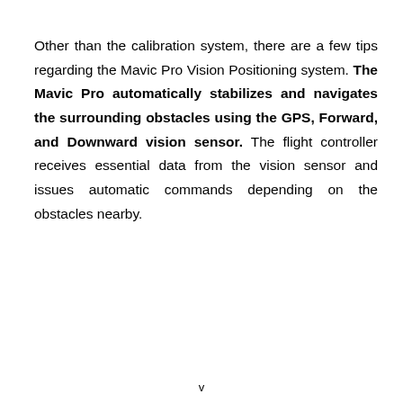Other than the calibration system, there are a few tips regarding the Mavic Pro Vision Positioning system. The Mavic Pro automatically stabilizes and navigates the surrounding obstacles using the GPS, Forward, and Downward vision sensor. The flight controller receives essential data from the vision sensor and issues automatic commands depending on the obstacles nearby.
v